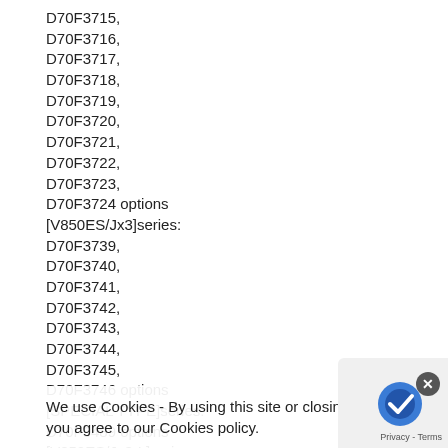D70F3715,
D70F3716,
D70F3717,
D70F3718,
D70F3719,
D70F3720,
D70F3721,
D70F3722,
D70F3723,
D70F3724 options
[V850ES/Jx3]series:
D70F3739,
D70F3740,
D70F3741,
D70F3742,
D70F3743,
D70F3744,
D70F3745,
D70F3746 options
[SPECIAL TYPE]series:
D70F3489 options
[V850ES/Jx3-L]series:
We use Cookies - By using this site or closing this you agree to our Cookies policy.